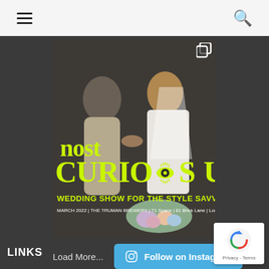Navigation bar with hamburger menu and search icon
[Figure (photo): Wedding photo showing a couple exchanging rings. The man wears a beige suit, the woman wears a white bridal dress and veil. Overlaid text in bright lime/yellow reads 'most CURIOUS WEDDING SHOW FOR THE STYLE SAVVY C' and 'MARCH 2022 | THE TRUMAN BREWERY | T1 Space | 81 Brick Lane | London |'. Instagram-style post with duplicate/copy icon in top-right corner.]
Load More...
Follow on Instagram
LINKS